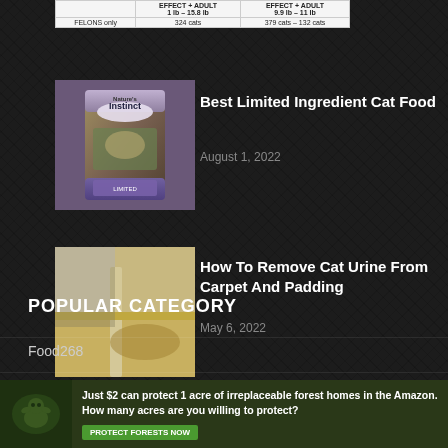|  | EFFECT + ADULT 1 lb – 15.8 lb | EFFECT + ADULT 9.9 lb – 11 lb |
| --- | --- | --- |
| FELONS only | 324 cats | 379 cats – 132 cats |
[Figure (photo): Bag of Instinct Limited ingredient cat food product]
Best Limited Ingredient Cat Food
August 1, 2022
[Figure (photo): Photo of carpet corner showing cat urine stain]
How To Remove Cat Urine From Carpet And Padding
May 6, 2022
POPULAR CATEGORY
Food268
Popular250
[Figure (infographic): Advertisement banner: Just $2 can protect 1 acre of irreplaceable forest homes in the Amazon. How many acres are you willing to protect? PROTECT FORESTS NOW]